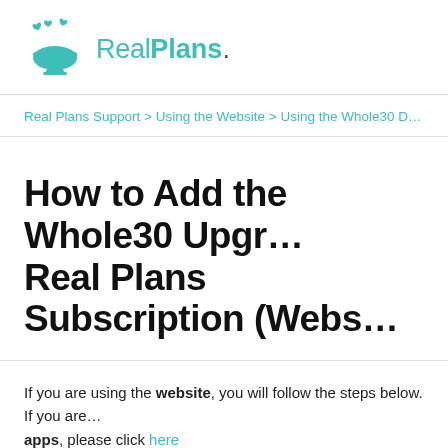[Figure (logo): RealPlans logo: teal bowl with hearts above it, followed by text 'RealPlans.' in teal and dark gray]
Real Plans Support > Using the Website > Using the Whole30 D...
How to Add the Whole30 Upgr... Real Plans Subscription (Webs...
If you are using the website, you will follow the steps below. If you are using the apps, please click here.